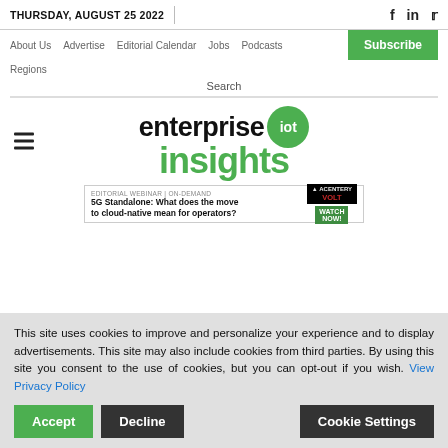THURSDAY, AUGUST 25 2022
About Us  Advertise  Editorial Calendar  Jobs  Podcasts  Subscribe
Regions  Search
[Figure (logo): Enterprise IoT Insights logo with green IoT circle badge and green 'insights' text]
[Figure (screenshot): Editorial Webinar on-demand ad: 5G Standalone: What does the move to cloud-native mean for operators? Acentery Volt - Watch Now]
This site uses cookies to improve and personalize your experience and to display advertisements. This site may also include cookies from third parties. By using this site you consent to the use of cookies, but you can opt-out if you wish. View Privacy Policy
Accept  Decline  Cookie Settings